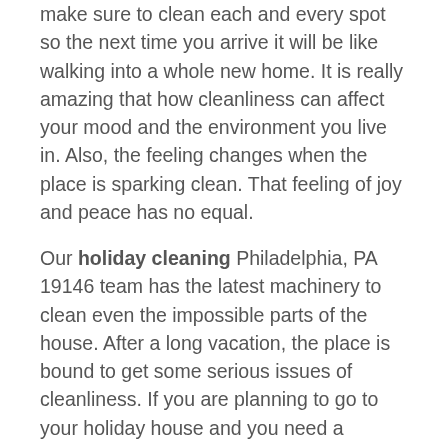make sure to clean each and every spot so the next time you arrive it will be like walking into a whole new home. It is really amazing that how cleanliness can affect your mood and the environment you live in. Also, the feeling changes when the place is sparking clean. That feeling of joy and peace has no equal.
Our holiday cleaning Philadelphia, PA 19146 team has the latest machinery to clean even the impossible parts of the house. After a long vacation, the place is bound to get some serious issues of cleanliness. If you are planning to go to your holiday house and you need a professional dusting and cleaning of the place then we are always ready to head out on your orders. Before you arrive the place will be dustless and spotless. Each and everything in the house including the roof corners, lights, windows, racks, and kitchen and bathing room will be cleaned to perfection. We are best at what we do because we are trained to do it with utmost precision and accuracy. Xpressmaids is not